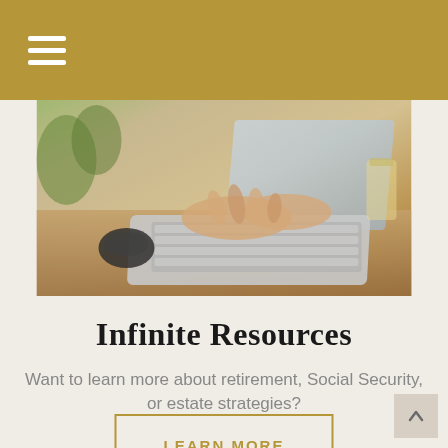Navigation menu (hamburger icon on gold/tan header bar)
[Figure (photo): Close-up photo of hands typing on a laptop keyboard on a wooden desk, with a mouse and glass in the background]
Infinite Resources
Want to learn more about retirement, Social Security, or estate strategies?
LEARN MORE